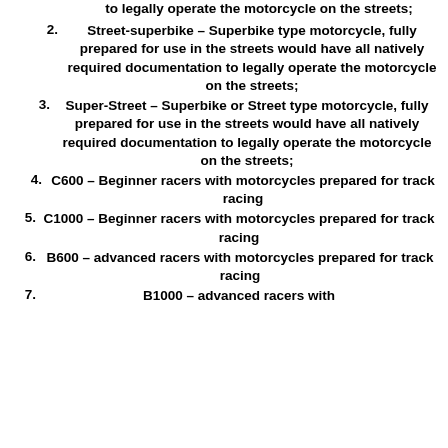to legally operate the motorcycle on the streets;
2. Street-superbike – Superbike type motorcycle, fully prepared for use in the streets would have all natively required documentation to legally operate the motorcycle on the streets;
3. Super-Street – Superbike or Street type motorcycle, fully prepared for use in the streets would have all natively required documentation to legally operate the motorcycle on the streets;
4. C600 – Beginner racers with motorcycles prepared for track racing
5. C1000 – Beginner racers with motorcycles prepared for track racing
6. B600 – advanced racers with motorcycles prepared for track racing
7. B1000 – advanced racers with